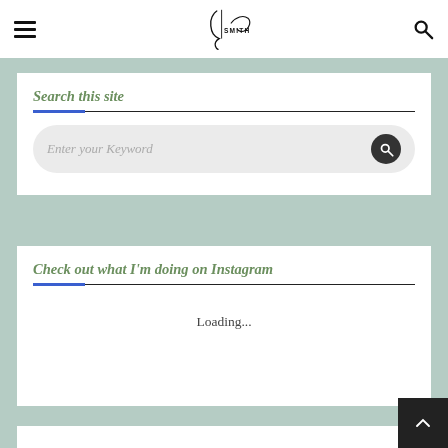Navigation bar with hamburger menu, J Smith logo, and search icon
Search this site
Enter your Keyword
Check out what I'm doing on Instagram
Loading...